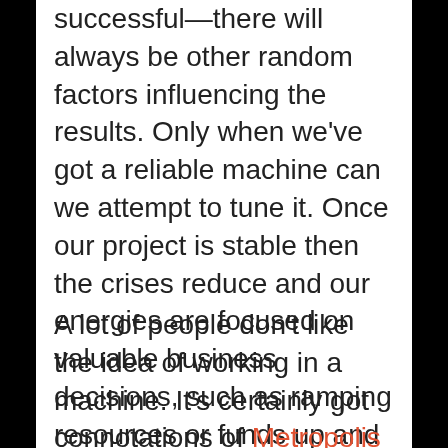successful—there will always be other random factors influencing the results. Only when we've got a reliable machine can we attempt to tune it. Once our project is stable then the crises reduce and our energies are focused on valuable business decisions, such as ramping resources or funds up and down, and continually ensuring it's delivering the benefit/cost ratio that we expect.
A lot of people don't like the idea of working in a machine. It's certainly got connotations of Metropolis about it. But looking at it another way, we're working in